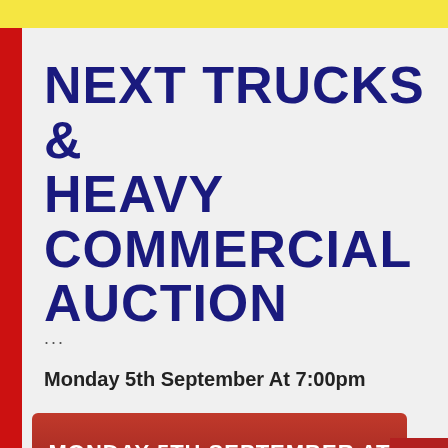NEXT TRUCKS & HEAVY COMMERCIAL AUCTION
...
Monday 5th September At 7:00pm
MONDAY 5TH SEPTEMBER AT 7:00PM